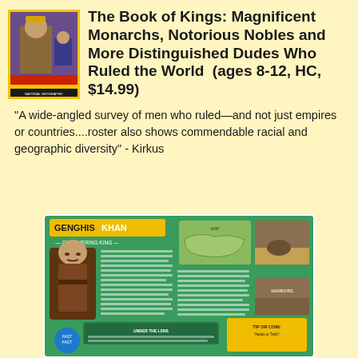[Figure (photo): Book cover of 'The Book of Kings: Magnificent Monarchs, Notorious Nobles and More Distinguished Dudes Who Ruled the World' showing a historical king portrait with yellow National Geographic border]
The Book of Kings: Magnificent Monarchs, Notorious Nobles and More Distinguished Dudes Who Ruled the World (ages 8-12, HC, $14.99)
"A wide-angled survey of men who ruled—and not just empires or countries....roster also shows commendable racial and geographic diversity" - Kirkus
[Figure (photo): Interior spread of the book showing a Genghis Khan page with green background, illustration of Genghis Khan, a map, photos, and text sections titled 'Conquering King']